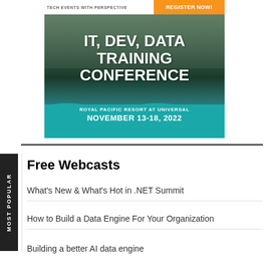[Figure (illustration): Conference advertisement banner for IT, Dev, Data Training Conference at Royal Pacific Resort at Universal, November 13-18, 2022. Orange 'REGISTER NOW!' button in top right. Teal bottom section with venue and date details.]
Free Webcasts
What's New & What's Hot in .NET Summit
How to Build a Data Engine For Your Organization
Building a better AI data engine